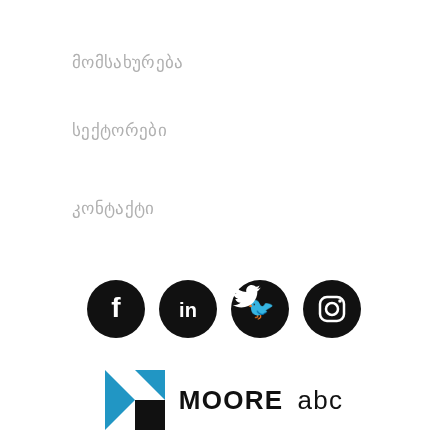მომსახურება
სექტორები
კონტაქტი
[Figure (logo): Social media icons: Facebook, LinkedIn, Twitter, Instagram — black circles with white icons]
[Figure (logo): Moore abc logo with blue and black chevron/arrow mark on the left and MOORE abc text on the right]